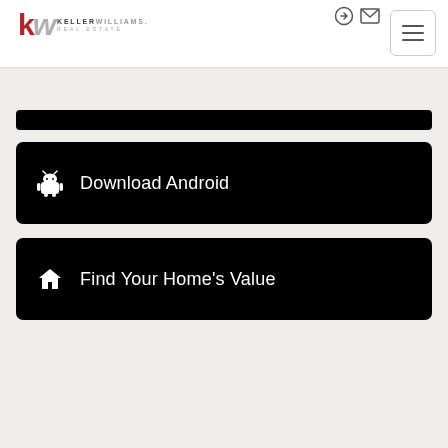[Figure (logo): Keller Williams Real Estate logo with red K and gray W]
Download Android
Find Your Home's Value